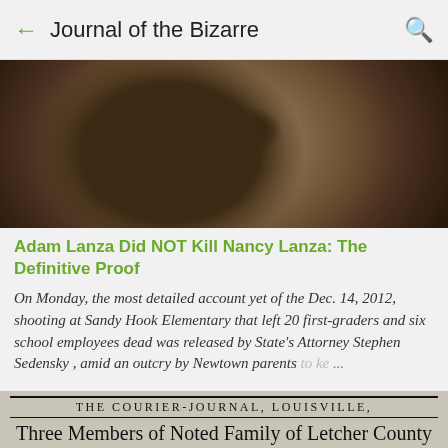← Journal of the Bizarre 🔍
[Figure (photo): Close-up photo of a person's face showing forehead and eyes with dark hair]
Adam Lanza Did NOT Kill Nancy Lanza: The Definitive Proof
On Monday, the most detailed account yet of the Dec. 14, 2012, shooting at Sandy Hook Elementary that left 20 first-graders and six school employees dead was released by State's Attorney Stephen Sedensky , amid an outcry by Newtown parents to ke... ...
[Figure (photo): Scanned newspaper clipping from The Courier-Journal, Louisville showing headline: Three Members of Noted Family of Letcher County]